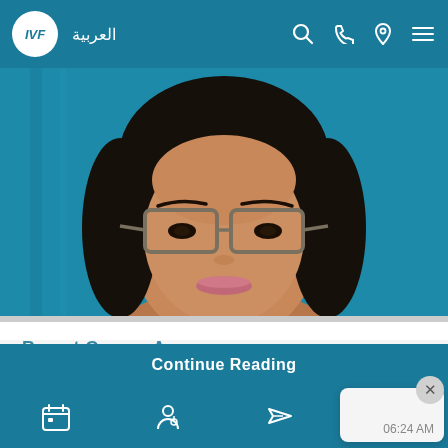IVF العربية
[Figure (photo): Close-up photo of Dr. Tejashree Singh, a woman with glasses and dark hair, smiling, against a teal/blue background]
Breast Cancer Awareness
Tuesday, October 10, 2017
Dr. Tejashree Singh, Specialist OB/GYN talks about Breast Cancer Risk and Prevention. Watch the video below to lea...
06:24 AM
Continue Reading
IVF